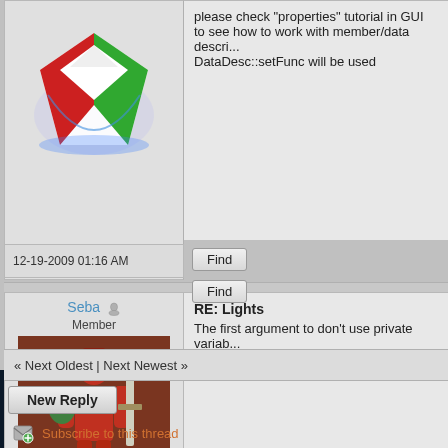[Figure (screenshot): Forum post row 1: user avatar (diamond/gem logo), timestamp 12-19-2009 01:16 AM, Find button, post text about properties tutorial in GUI, DataDesc::setFunc]
please check "properties" tutorial in GUI to see how to work with member/data descr... DataDesc::setFunc will be used
12-19-2009 01:16 AM
[Figure (screenshot): Forum post row 2: user Seba (Member), avatar of red armored warrior figure, timestamp 12-19-2009 10:51 AM, Find button, post title RE: Lights, post text about first argument]
Seba
Member
RE: Lights
The first argument to don't use private variab...
12-19-2009 10:51 AM
« Next Oldest | Next Newest »
New Reply
Subscribe to this thread